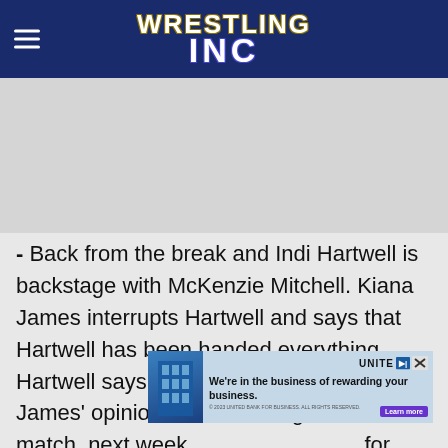Wrestling Inc
[Figure (other): Gray advertisement placeholder area]
- Back from the break and Indi Hartwell is backstage with McKenzie Mitchell. Kiana James interrupts Hartwell and says that Hartwell has been handed everything. Hartwell says she doesn't care about James' opinions and challenges her to a match, next week. for
[Figure (other): Unite for Business advertisement banner with building graphic and tagline 'We're in the business of rewarding your business.']